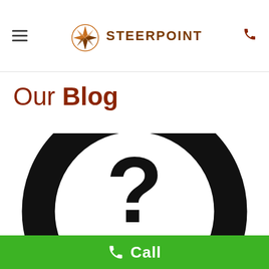Steerpoint
Our Blog
[Figure (illustration): Large question mark inside a circle on dark background, representing a blog post thumbnail]
Debunking the Myths Internet Marketing
Call